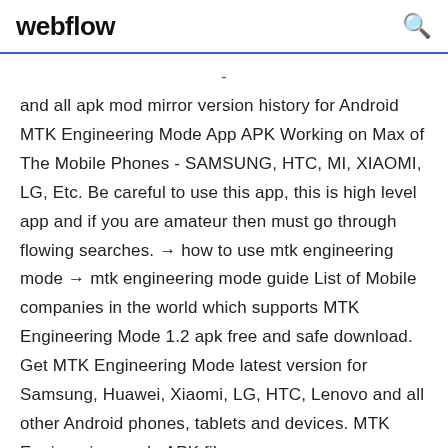webflow
- and all apk mod mirror version history for Android MTK Engineering Mode App APK Working on Max of The Mobile Phones - SAMSUNG, HTC, MI, XIAOMI, LG, Etc. Be careful to use this app, this is high level app and if you are amateur then must go through flowing searches. → how to use mtk engineering mode → mtk engineering mode guide List of Mobile companies in the world which supports MTK Engineering Mode 1.2 apk free and safe download. Get MTK Engineering Mode latest version for Samsung, Huawei, Xiaomi, LG, HTC, Lenovo and all other Android phones, tablets and devices. MTK Engineering mode APK file